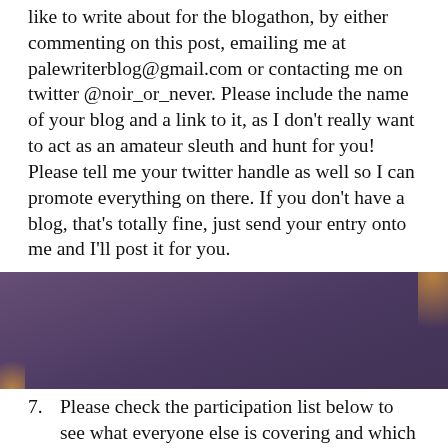like to write about for the blogathon, by either commenting on this post, emailing me at palewriterblog@gmail.com or contacting me on twitter @noir_or_never. Please include the name of your blog and a link to it, as I don't really want to act as an amateur sleuth and hunt for you! Please tell me your twitter handle as well so I can promote everything on there. If you don't have a blog, that's totally fine, just send your entry onto me and I'll post it for you.
7. Please check the participation list below to see what everyone else is covering and which subjects have
Privacy & Cookies: This site uses cookies. By continuing to use this website, you agree to their use.
To find out more, including how to control cookies, see here: Cookie Policy